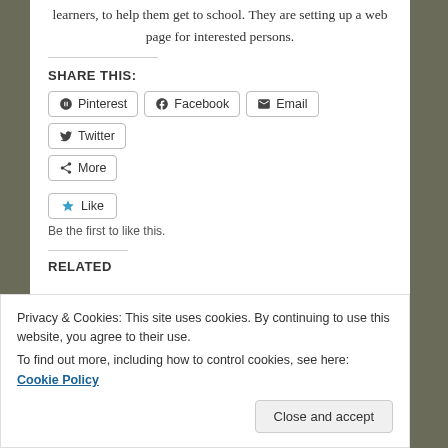learners, to help them get to school. They are setting up a web page for interested persons.
SHARE THIS:
Pinterest  Facebook  Email  Twitter  More
Like  Be the first to like this.
RELATED
Privacy & Cookies: This site uses cookies. By continuing to use this website, you agree to their use. To find out more, including how to control cookies, see here: Cookie Policy
Close and accept